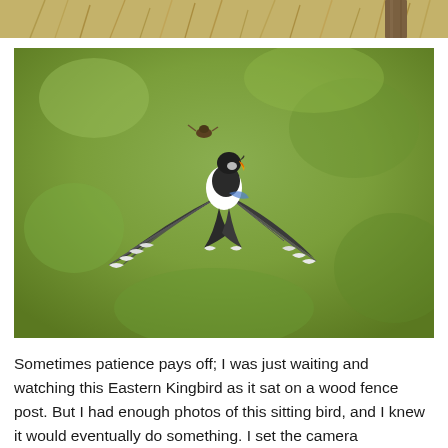[Figure (photo): Partial top image showing dry golden grass stalks and a wooden fence post against a blurred background — cropped strip at page top]
[Figure (photo): Eastern Kingbird in flight with wings spread wide, beak open, catching or tossing a small insect above it, against a blurred green background]
Sometimes patience pays off; I was just waiting and watching this Eastern Kingbird as it sat on a wood fence post. But I had enough photos of this sitting bird, and I knew it would eventually do something. I set the camera